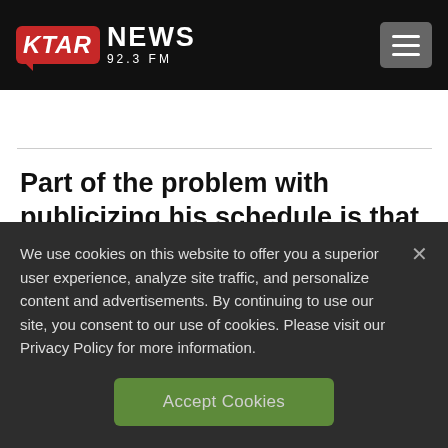[Figure (logo): KTAR News 92.3 FM logo with red speech bubble background for KTAR in italics, white NEWS text beside it, and 92.3 FM subtitle]
[Figure (other): Hamburger menu button (three horizontal lines) on dark gray rounded rectangle background]
Part of the problem with publicizing his schedule is that protesters tend to follow wherever he goes
We use cookies on this website to offer you a superior user experience, analyze site traffic, and personalize content and advertisements. By continuing to use our site, you consent to our use of cookies. Please visit our Privacy Policy for more information.
Accept Cookies